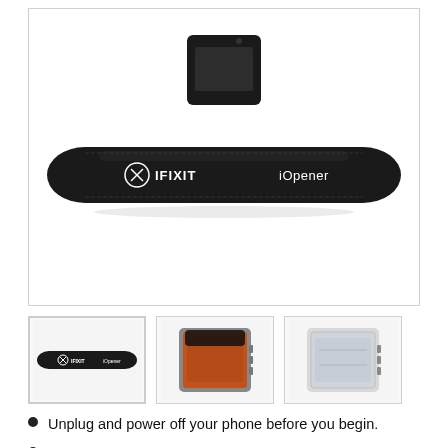[Figure (photo): Top-down view of an iFixit iOpener heating tool — a black elongated padded bag with 'IFIXIT' logo on left and 'iOpener' text on right, with a phone resting on top in the center.]
[Figure (photo): Thumbnail 1: small view of iFixit iOpener tool, same top-down black bag view.]
[Figure (photo): Thumbnail 2: iOpener placed on a smartphone back cover showing orange/red adhesive area.]
[Figure (photo): Thumbnail 3: clear/transparent smartphone back cover panel after removal.]
Unplug and power off your phone before you begin.
Heat an iOpener and apply it to the back cover's right edge for two minutes.